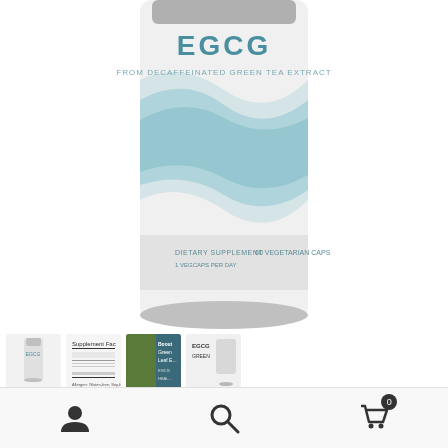[Figure (photo): Product bottle of EGCG supplement from decaffeinated green tea extract. Label reads 'EGCG FROM DECAFFEINATED GREEN TEA EXTRACT DIETARY SUPPLEMENT 60 VEGETARIAN CAPSULES'. White bottle with teal wave design.]
[Figure (photo): Thumbnail: full product bottle small view]
[Figure (photo): Thumbnail: supplement facts panel]
[Figure (photo): Thumbnail: green tea leaves with product callout]
[Figure (photo): Thumbnail: EGCG green tea info graphic]
[Figure (photo): Thumbnail: blue infographic with EGCG dosage info]
[Figure (photo): Thumbnail: person with supplement lifestyle photo]